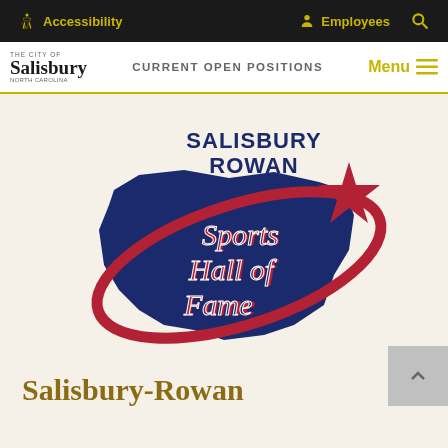Accessibility  Employees  Search
The City of Salisbury, North Carolina — CURRENT OPEN POSITIONS — Menu
[Figure (logo): Salisbury Rowan Sports Hall of Fame logo: blue state-shaped silhouette with red swoosh/orbit and shooting star, with 'SALISBURY ROWAN' in navy block letters above and 'Sports Hall of Fame' in red cursive script inside the shape.]
Salisbury-Rowan